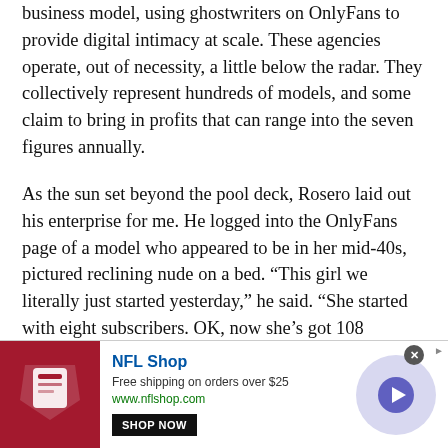business model, using ghostwriters on OnlyFans to provide digital intimacy at scale. These agencies operate, out of necessity, a little below the radar. They collectively represent hundreds of models, and some claim to bring in profits that can range into the seven figures annually.
As the sun set beyond the pool deck, Rosero laid out his enterprise for me. He logged into the OnlyFans page of a model who appeared to be in her mid-40s, pictured reclining nude on a bed. “This girl we literally just started yesterday,” he said. “She started with eight subscribers. OK, now she’s got 108 subscribers. You know, an older lady. But the thing is that, look, since she’s blond and white skin,
[Figure (other): NFL Shop advertisement banner. Shows NFL Shop logo text in blue, free shipping on orders over $25, www.nflshop.com URL, a SHOP NOW button, an NFL helmet image on dark red background, a circular arrow button, and a close (x) button.]